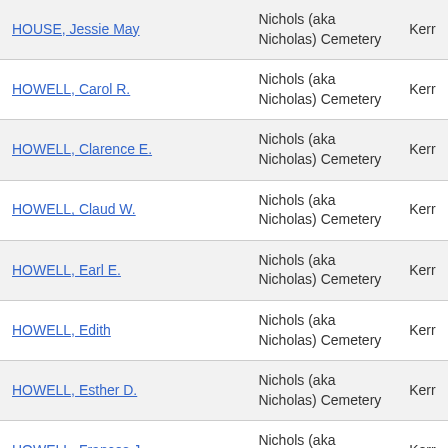| Name | Cemetery | County |
| --- | --- | --- |
| HOUSE, Jessie May | Nichols (aka Nicholas) Cemetery | Kerr |
| HOWELL, Carol R. | Nichols (aka Nicholas) Cemetery | Kerr |
| HOWELL, Clarence E. | Nichols (aka Nicholas) Cemetery | Kerr |
| HOWELL, Claud W. | Nichols (aka Nicholas) Cemetery | Kerr |
| HOWELL, Earl E. | Nichols (aka Nicholas) Cemetery | Kerr |
| HOWELL, Edith | Nichols (aka Nicholas) Cemetery | Kerr |
| HOWELL, Esther D. | Nichols (aka Nicholas) Cemetery | Kerr |
| HOWELL, Frances J. | Nichols (aka Nicholas) Cemetery | Kerr |
| HOWELL, Graydon E. | Nichols (aka Nicholas) Cemetery | Kerr |